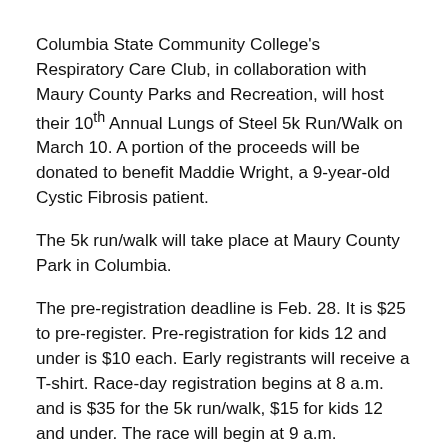Columbia State Community College's Respiratory Care Club, in collaboration with Maury County Parks and Recreation, will host their 10th Annual Lungs of Steel 5k Run/Walk on March 10. A portion of the proceeds will be donated to benefit Maddie Wright, a 9-year-old Cystic Fibrosis patient.
The 5k run/walk will take place at Maury County Park in Columbia.
The pre-registration deadline is Feb. 28. It is $25 to pre-register. Pre-registration for kids 12 and under is $10 each. Early registrants will receive a T-shirt. Race-day registration begins at 8 a.m. and is $35 for the 5k run/walk, $15 for kids 12 and under. The race will begin at 9 a.m.
"For the last several years, the respiratory care students have donated a portion of the run proceeds to a charity," said R. David Johnson, program director and associate professor of respiratory care at Columbia State. "This year, they will